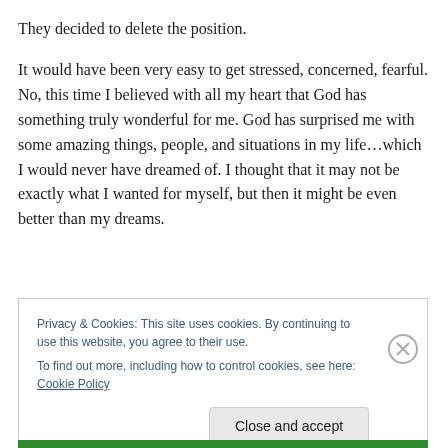They decided to delete the position.
It would have been very easy to get stressed, concerned, fearful.
No, this time I believed with all my heart that God has something truly wonderful for me. God has surprised me with some amazing things, people, and situations in my life…which I would never have dreamed of. I thought that it may not be exactly what I wanted for myself, but then it might be even better than my dreams.
Privacy & Cookies: This site uses cookies. By continuing to use this website, you agree to their use.
To find out more, including how to control cookies, see here: Cookie Policy
Close and accept